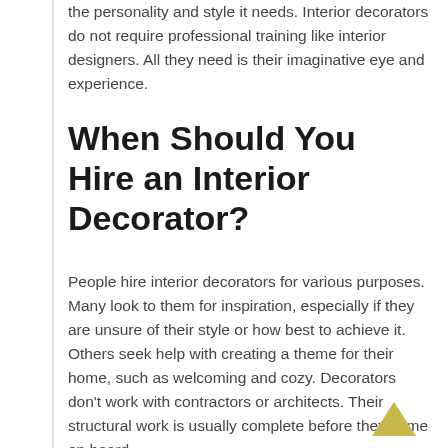the personality and style it needs. Interior decorators do not require professional training like interior designers. All they need is their imaginative eye and experience.
When Should You Hire an Interior Decorator?
People hire interior decorators for various purposes. Many look to them for inspiration, especially if they are unsure of their style or how best to achieve it. Others seek help with creating a theme for their home, such as welcoming and cozy. Decorators don't work with contractors or architects. Their structural work is usually complete before they come on board.